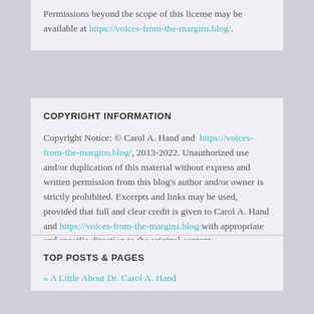Permissions beyond the scope of this license may be available at https://voices-from-the-margins.blog/.
COPYRIGHT INFORMATION
Copyright Notice: © Carol A. Hand and https://voices-from-the-margins.blog/, 2013-2022. Unauthorized use and/or duplication of this material without express and written permission from this blog's author and/or owner is strictly prohibited. Excerpts and links may be used, provided that full and clear credit is given to Carol A. Hand and https://voices-from-the-margins.blog/ with appropriate and specific direction to the original content.
TOP POSTS & PAGES
» A Little About Dr. Carol A. Hand